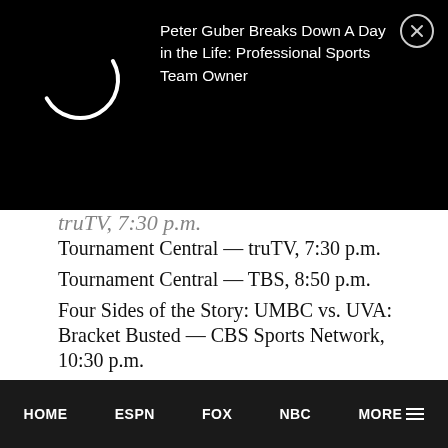[Figure (screenshot): Black banner with loading spinner arc and close button (X in circle)]
Peter Guber Breaks Down A Day in the Life: Professional Sports Team Owner
Tournament Central — truTV, 7:30 p.m.
Tournament Central — TBS, 8:50 p.m.
Four Sides of the Story: UMBC vs. UVA: Bracket Busted — CBS Sports Network, 10:30 p.m.
Inside March Madness — truTV, 10:45 p.m.
NCAA March Madness 360 — CBS Sports Network, 11 p.m.
NCAA March Madness Bracket Breakdown — CBS Sports Network, midnight
HOME   ESPN   FOX   NBC   MORE